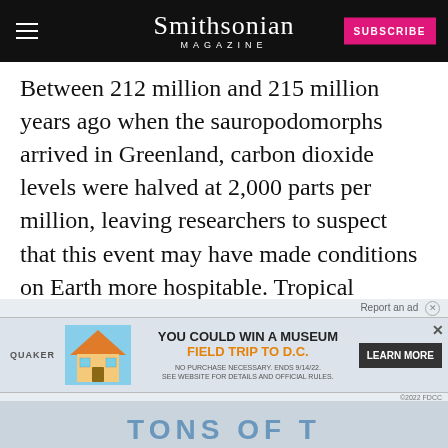Smithsonian MAGAZINE
Between 212 million and 215 million years ago when the sauropodomorphs arrived in Greenland, carbon dioxide levels were halved at 2,000 parts per million, leaving researchers to suspect that this event may have made conditions on Earth more hospitable. Tropical regions likely became more mild and arid regions became less dry, allowing sauropodomorphs to migrate North, reports the Independent
[Figure (photo): Advertisement banner: Quaker Museum Day promotion — 'You could win a museum field trip to D.C.' with Learn More button]
[Figure (photo): Partially visible teal/blue text teaser at bottom of page, cropped]